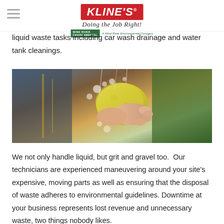KLINE'S® Doing the Job Right! A Wind River Environmental Company
liquid waste tasks including car wash drainage and water tank cleanings.
[Figure (photo): Close-up photo of hands squeezing a yellow sponge while washing a car, with water and soap suds visible.]
We not only handle liquid, but grit and gravel too.  Our technicians are experienced maneuvering around your site's expensive, moving parts as well as ensuring that the disposal of waste adheres to environmental guidelines. Downtime at your business represents lost revenue and unnecessary waste, two things nobody likes.